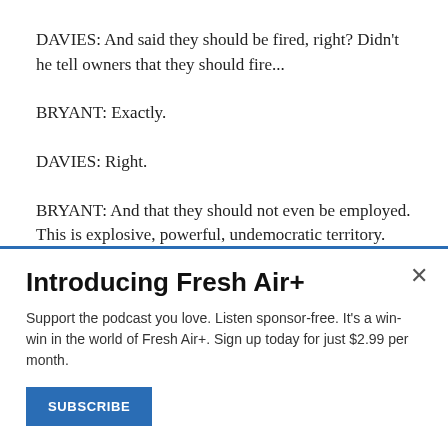DAVIES: And said they should be fired, right? Didn't he tell owners that they should fire...
BRYANT: Exactly.
DAVIES: Right.
BRYANT: And that they should not even be employed. This is explosive, powerful, undemocratic territory. Actually suggesting that a citizen and that an employee lose his job
Introducing Fresh Air+
Support the podcast you love. Listen sponsor-free. It's a win-win in the world of Fresh Air+. Sign up today for just $2.99 per month.
SUBSCRIBE